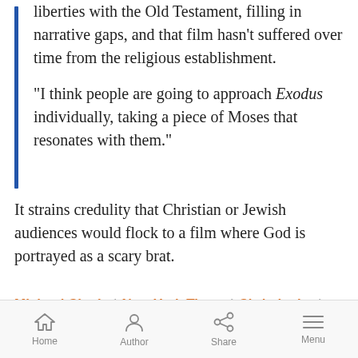liberties with the Old Testament, filling in narrative gaps, and that film hasn’t suffered over time from the religious establishment.
“I think people are going to approach Exodus individually, taking a piece of Moses that resonates with them.”
It strains credulity that Christian or Jewish audiences would flock to a film where God is portrayed as a scary brat.
Michael Cieply | New York Times | Christianity | Judaism | Movies | Washington Post | Religion
Home  Author  Share  Menu